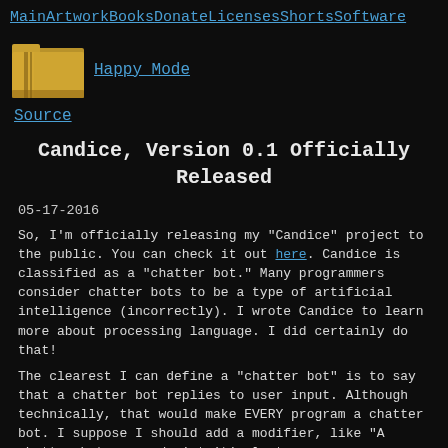Main Artwork Books Donate Licenses Shorts Software
[Figure (illustration): Folder icon (tan/gold colored folder)]
Happy_Mode
Source
Candice, Version 0.1 Officially Released
05-17-2016
So, I'm officially releasing my "Candice" project to the public. You can check it out here. Candice is classified as a "chatter bot." Many programmers consider chatter bots to be a type of artificial intelligence (incorrectly). I wrote Candice to learn more about processing language. I did certainly do that!
The clearest I can define a "chatter bot" is to say that a chatter bot replies to user input. Although technically, that would make EVERY program a chatter bot. I suppose I should add a modifier, like "A chatter bot responds intuitively to